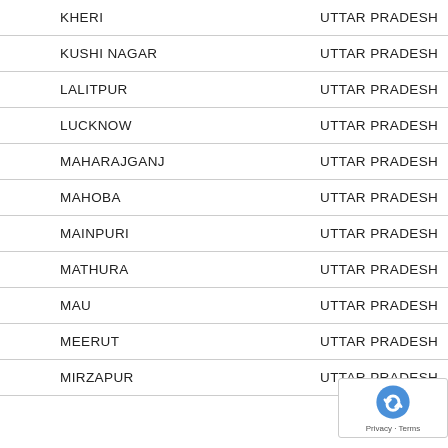| District | State |
| --- | --- |
| KHERI | UTTAR PRADESH |
| KUSHI NAGAR | UTTAR PRADESH |
| LALITPUR | UTTAR PRADESH |
| LUCKNOW | UTTAR PRADESH |
| MAHARAJGANJ | UTTAR PRADESH |
| MAHOBA | UTTAR PRADESH |
| MAINPURI | UTTAR PRADESH |
| MATHURA | UTTAR PRADESH |
| MAU | UTTAR PRADESH |
| MEERUT | UTTAR PRADESH |
| MIRZAPUR | UTTAR PRADESH |